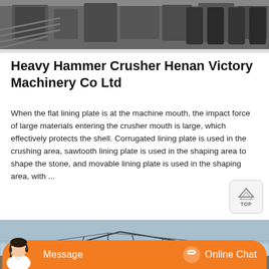[Figure (photo): Industrial machinery photo at the top of the page showing mechanical equipment in dark tones]
Heavy Hammer Crusher Henan Victory Machinery Co Ltd
When the flat lining plate is at the machine mouth, the impact force of large materials entering the crusher mouth is large, which effectively protects the shell. Corrugated lining plate is used in the crushing area, sawtooth lining plate is used in the shaping area to shape the stone, and movable lining plate is used in the shaping area, with ...
[Figure (photo): Industrial facility or factory under construction with steel framework structure against blue sky]
[Figure (other): Chat interface bar at the bottom with Message and Online Chat buttons, and customer service agent photo]